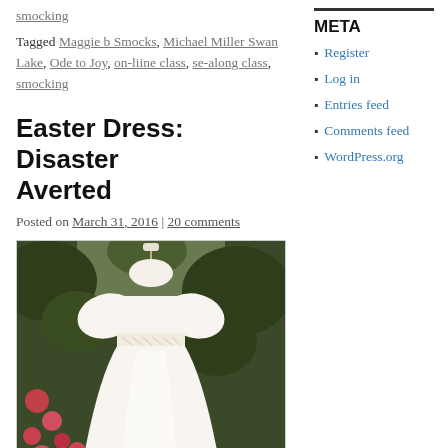smocking
Tagged Maggie b Smocks, Michael Miller Swan Lake, Ode to Joy, on-liine class, se-along class, smocking
Easter Dress: Disaster Averted
Posted on March 31, 2016 | 20 comments
[Figure (photo): A white smocked Easter dress hanging outdoors with flowers and greenery in the background]
META
Register
Log in
Entries feed
Comments feed
WordPress.org